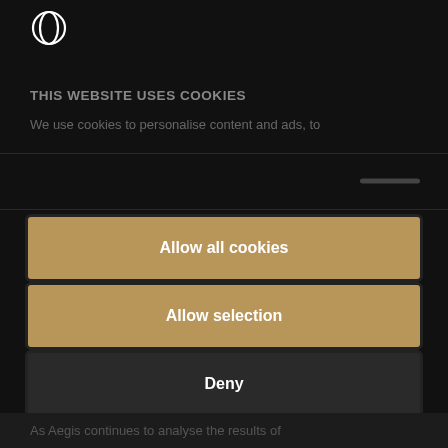[Figure (logo): Circular logo icon in white outline on dark header bar]
THIS WEBSITE USES COOKIES
We use cookies to personalise content and ads, to
[Figure (other): Cookie consent dialog with scroll indicator bar on right side]
Allow all cookies
Allow selection
Deny
Powered by Cookiebot by Usercentrics
As Aegis continues to analyse the results of